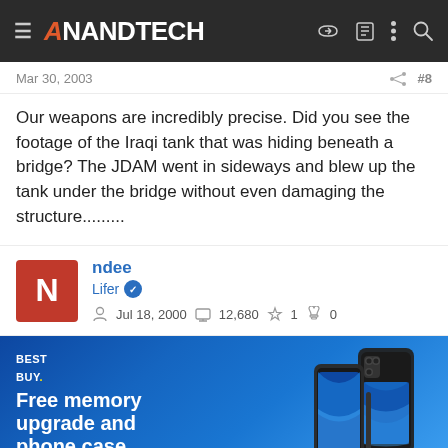AnandTech
Mar 30, 2003  #8
Our weapons are incredibly precise. Did you see the footage of the Iraqi tank that was hiding beneath a bridge? The JDAM went in sideways and blew up the tank under the bridge without even damaging the structure.........
ndee
Lifer
Jul 18, 2000  12,680  1  0
[Figure (other): Best Buy advertisement banner for Samsung Galaxy Z Series. Text: 'Free memory upgrade and phone case when you pre-order the new Samsung Galaxy Z Series with qualified activation.' Button: 'Pre-Order Now'. Shows image of Samsung Galaxy Z Fold phone.]